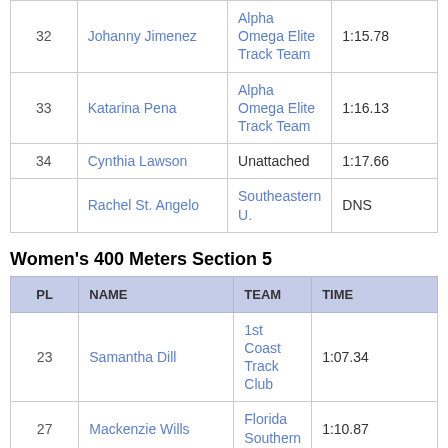| PL | NAME | TEAM | TIME |
| --- | --- | --- | --- |
| 32 | Johanny Jimenez | Alpha Omega Elite Track Team | 1:15.78 |
| 33 | Katarina Pena | Alpha Omega Elite Track Team | 1:16.13 |
| 34 | Cynthia Lawson | Unattached | 1:17.66 |
|  | Rachel St. Angelo | Southeastern U. | DNS |
Women's 400 Meters Section 5
| PL | NAME | TEAM | TIME |
| --- | --- | --- | --- |
| 23 | Samantha Dill | 1st Coast Track Club | 1:07.34 |
| 27 | Mackenzie Wills | Florida Southern | 1:10.87 |
| 30 | Meloni Salters | Warner | 1:13.51 * + * |
| 31 | Amber Winton | Florida Southern | 1:14.91 |
|  | Chelsea Lewis | Johnson & Wales (Fla.) | DNS |